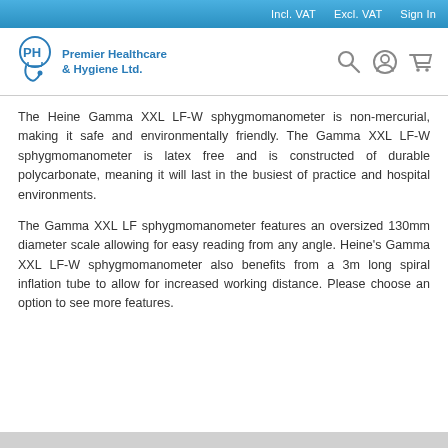Incl. VAT   Excl. VAT   Sign In
[Figure (logo): Premier Healthcare & Hygiene Ltd. logo with stylized PH emblem and company name]
The Heine Gamma XXL LF-W sphygmomanometer is non-mercurial, making it safe and environmentally friendly. The Gamma XXL LF-W sphygmomanometer is latex free and is constructed of durable polycarbonate, meaning it will last in the busiest of practice and hospital environments.
The Gamma XXL LF sphygmomanometer features an oversized 130mm diameter scale allowing for easy reading from any angle. Heine's Gamma XXL LF-W sphygmomanometer also benefits from a 3m long spiral inflation tube to allow for increased working distance. Please choose an option to see more features.